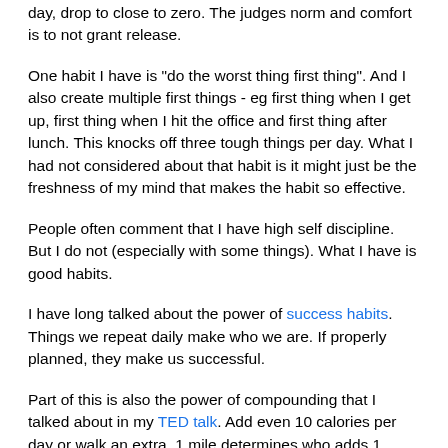day, drop to close to zero.  The judges norm and comfort is to not grant release.
One habit I have is "do the worst thing first thing".  And I also create multiple first things - eg first thing when I get up, first thing when I hit the office and first thing after lunch.  This knocks off three tough things per day.  What I had not considered about that habit is it might just be the freshness of my mind that makes the habit so effective.
People often comment that I have high self discipline.  But I do not (especially with some things).  What I have is good habits.
I have long talked about the power of success habits.  Things we repeat daily make who we are.  If properly planned, they make us successful.
Part of this is also the power of compounding that I talked about in my TED talk.  Add even 10 calories per day or walk an extra .1 mile determines who adds 1 pound per year or sheds 1 pound per year.